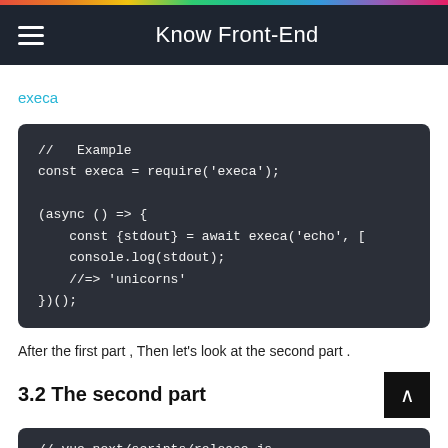Know Front-End
execa
[Figure (screenshot): Code block showing execa JavaScript example: // Example, const execa = require('execa');, (async () => {, const {stdout} = await execa('echo', [, console.log(stdout);, //=> 'unicorns', })();]
After the first part , Then let's look at the second part .
3.2 The second part
[Figure (screenshot): Code block showing: // vue-next/scripts/release.js]